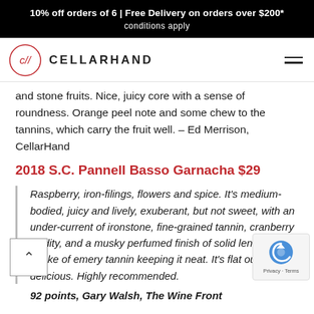10% off orders of 6 | Free Delivery on orders over $200* conditions apply
[Figure (logo): CellarHand logo: circle with c// monogram and CELLARHAND text]
and stone fruits. Nice, juicy core with a sense of roundness. Orange peel note and some chew to the tannins, which carry the fruit well. – Ed Merrison, CellarHand
2018 S.C. Pannell Basso Garnacha $29
Raspberry, iron-filings, flowers and spice. It's medium-bodied, juicy and lively, exuberant, but not sweet, with an under-current of ironstone, fine-grained tannin, cranberry acidity, and a musky perfumed finish of solid length, a stroke of emery tannin keeping it neat. It's flat out delicious. Highly recommended.
92 points, Gary Walsh, The Wine Front